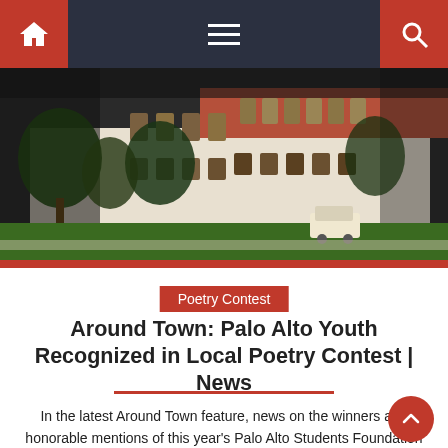Navigation bar with home icon, hamburger menu, and search icon
[Figure (photo): Exterior photo of a large white academic building with terracotta roof, multiple arched windows, trees in foreground, green lawn, and a golf cart near the entrance.]
Poetry Contest
Around Town: Palo Alto Youth Recognized in Local Poetry Contest | News
In the latest Around Town feature, news on the winners and honorable mentions of this year's Palo Alto Students Foundation Poetry Contest and the nomination of a Gunn High student to the County Youth Task Force of Santa Clara. poetic prowess... More than two dozen local students have recognized this year Palo Alto Students [...]